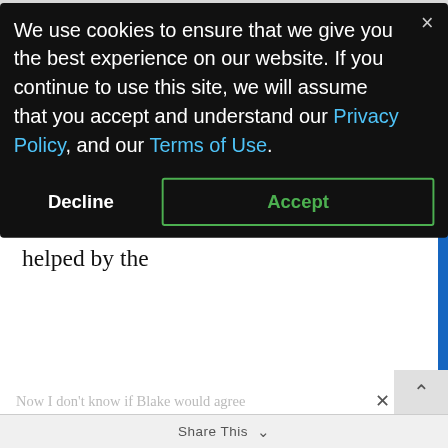≡ MENU
only as a gentle but uncharismatic everyman that doesn't seem to be a hero at all, even later when he makes his bold decision to save the Na'vi. This wasn't helped by the
[Figure (screenshot): Cookie consent modal dialog with dark background. Text reads: 'We use cookies to ensure that we give you the best experience on our website. If you continue to use this site, we will assume that you accept and understand our Privacy Policy, and our Terms of Use.' Buttons: Decline and Accept.]
Share This ∨